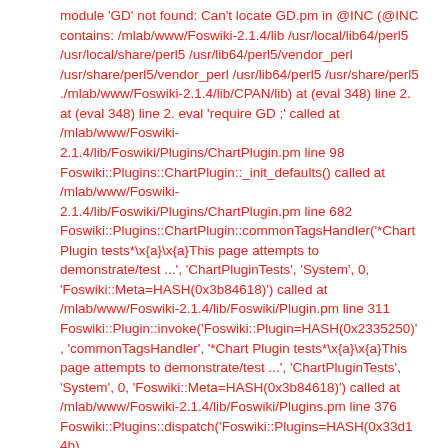module 'GD' not found: Can't locate GD.pm in @INC (@INC contains: /mlab/www/Foswiki-2.1.4/lib /usr/local/lib64/perl5 /usr/local/share/perl5 /usr/lib64/perl5/vendor_perl /usr/share/perl5/vendor_perl /usr/lib64/perl5 /usr/share/perl5 ./mlab/www/Foswiki-2.1.4/lib/CPAN/lib) at (eval 348) line 2. at (eval 348) line 2. eval 'require GD ;' called at /mlab/www/Foswiki-2.1.4/lib/Foswiki/Plugins/ChartPlugin.pm line 98 Foswiki::Plugins::ChartPlugin::_init_defaults() called at /mlab/www/Foswiki-2.1.4/lib/Foswiki/Plugins/ChartPlugin.pm line 682 Foswiki::Plugins::ChartPlugin::commonTagsHandler('*Chart Plugin tests*\x{a}\x{a}This page attempts to demonstrate/test ...', 'ChartPluginTests', 'System', 0, 'Foswiki::Meta=HASH(0x3b84618)') called at /mlab/www/Foswiki-2.1.4/lib/Foswiki/Plugin.pm line 311 Foswiki::Plugin::invoke('Foswiki::Plugin=HASH(0x2335250)', 'commonTagsHandler', '*Chart Plugin tests*\x{a}\x{a}This page attempts to demonstrate/test ...', 'ChartPluginTests', 'System', 0, 'Foswiki::Meta=HASH(0x3b84618)') called at /mlab/www/Foswiki-2.1.4/lib/Foswiki/Plugins.pm line 376 Foswiki::Plugins::dispatch('Foswiki::Plugins=HASH(0x33d14b)